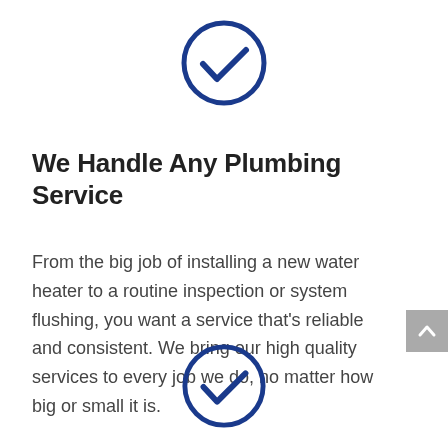[Figure (illustration): Dark blue circle with a checkmark inside, centered near top of page]
We Handle Any Plumbing Service
From the big job of installing a new water heater to a routine inspection or system flushing, you want a service that’s reliable and consistent. We bring our high quality services to every job we do, no matter how big or small it is.
[Figure (illustration): Dark blue circle with a checkmark inside, centered near bottom of page]